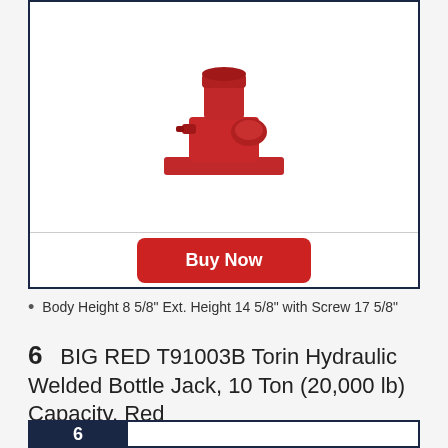[Figure (photo): Red hydraulic bottle jack product photo on white background]
Buy Now
Body Height 8 5/8" Ext. Height 14 5/8" with Screw 17 5/8"
6   BIG RED T91003B Torin Hydraulic Welded Bottle Jack, 10 Ton (20,000 lb) Capacity, Red
[Figure (infographic): Dark navy ranking bar with number 6 in white box on left side]